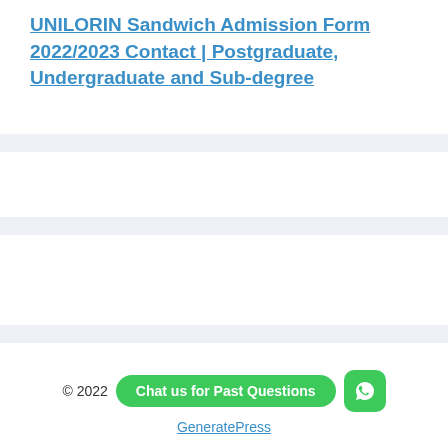UNILORIN Sandwich Admission Form 2022/2023 Contact | Postgraduate, Undergraduate and Sub-degree
© 2022 Chat us for Past Questions GeneratePress